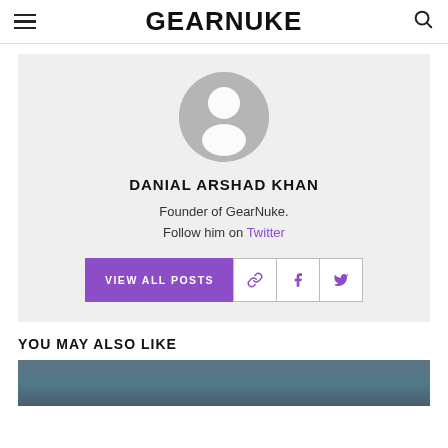GEARNUKE
[Figure (illustration): Default user avatar: grey circle with white silhouette person icon]
DANIAL ARSHAD KHAN
Founder of GearNuke.
Follow him on Twitter
VIEW ALL POSTS
YOU MAY ALSO LIKE
[Figure (photo): Partial view of an image (dark teal/blue tones) for a related article]